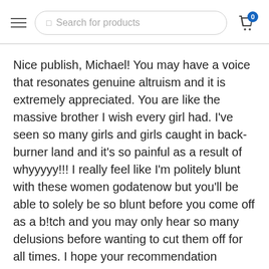Search for products
Nice publish, Michael! You may have a voice that resonates genuine altruism and it is extremely appreciated. You are like the massive brother I wish every girl had. I’ve seen so many girls and girls caught in back-burner land and it’s so painful as a result of whyyyyy!!! I really feel like I’m politely blunt with these women godatenow but you’ll be able to solely be so blunt before you come off as a b!tch and you may only hear so many delusions before wanting to cut them off for all times. I hope your recommendation through the HIM sequence will help many women acquire perception and empower those that need to go away the trash behind.